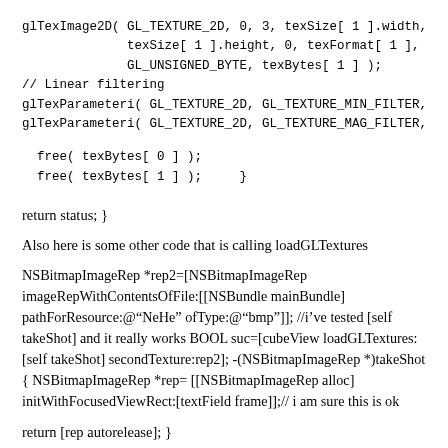glTexImage2D( GL_TEXTURE_2D, 0, 3, texSize[ 1 ].width,
              texSize[ 1 ].height, 0, texFormat[ 1 ],
              GL_UNSIGNED_BYTE, texBytes[ 1 ] );
// Linear filtering
glTexParameteri( GL_TEXTURE_2D, GL_TEXTURE_MIN_FILTER,
glTexParameteri( GL_TEXTURE_2D, GL_TEXTURE_MAG_FILTER,
free( texBytes[ 0 ] );
free( texBytes[ 1 ] );     }
return status; }
Also here is some other code that is calling loadGLTextures
NSBitmapImageRep *rep2=[NSBitmapImageRep imageRepWithContentsOfFile:[[NSBundle mainBundle] pathForResource:@“NeHe” ofType:@“bmp”]]; //i’ve tested [self takeShot] and it really works BOOL suc=[cubeView loadGLTextures:[self takeShot] secondTexture:rep2]; -(NSBitmapImageRep *)takeShot { NSBitmapImageRep *rep= [[NSBitmapImageRep alloc] initWithFocusedViewRect:[textField frame]];// i am sure this is ok
return [rep autorelease]; }